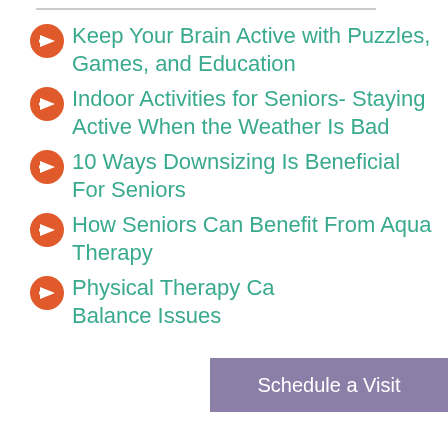Keep Your Brain Active with Puzzles, Games, and Education
Indoor Activities for Seniors- Staying Active When the Weather Is Bad
10 Ways Downsizing Is Beneficial For Seniors
How Seniors Can Benefit From Aqua Therapy
Physical Therapy Ca... Balance Issues
Schedule a Visit